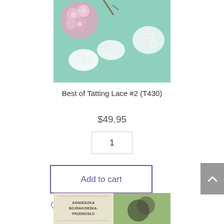[Figure (photo): Photo of tatting lace pieces on a teal background with pink fabric flowers in upper left corner]
Best of Tatting Lace #2 (T430)
$49.95
1
Add to cart
Add to Wishlist
[Figure (photo): Bottom portion of a book cover showing text AGNIESZKA BOJRAKOWSKA-PRZENIOSŁO with decorative elements]